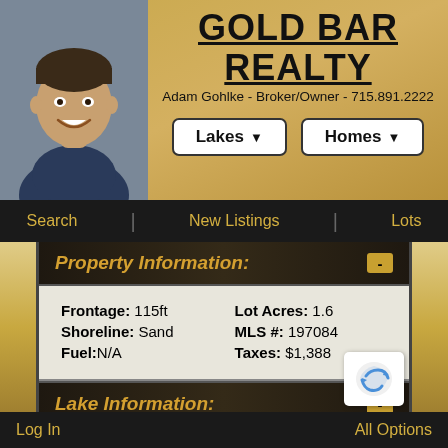GOLD BAR REALTY
Adam Gohlke - Broker/Owner - 715.891.2222
Search | New Listings | Lots
Property Information:
| Frontage: 115ft | Lot Acres: 1.6 |
| Shoreline: Sand | MLS #: 197084 |
| Fuel: N/A | Taxes: $1,388 |
Lake Information:
Lake: North Two Lake
Town: Minocqua
Distance: 21min
Clarity: 15.0ft
Avg Depth: 19ft
Max Depth: 47ft
Acres: 150
Type: Seepage
Log In    All Options